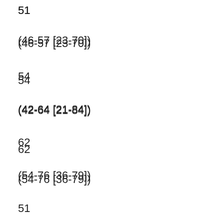51
(46-57 [23-70])
54
(42-64 [21-84])
62
(54-76 [36-79])
51
(34-58 [29-65])
Male; %
39
22